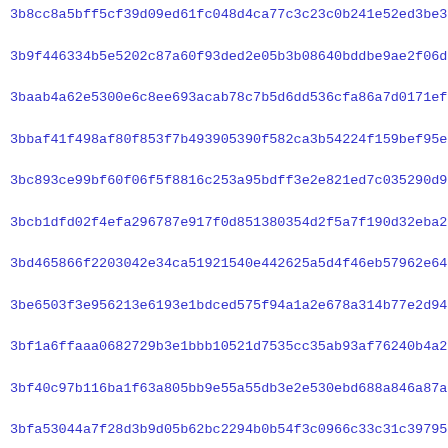3b8cc8a5bff5cf39d09ed61fc048d4ca77c3c23c0b241e52ed3be3bcabd97
3b9f446334b5e5202c87a60f93ded2e05b3b08640bddbe9ae2f06dc6cceb1
3baab4a62e5300e6c8ee693acab78c7b5d6dd536cfa86a7d0171ef52f2033
3bbaf41f498af80f853f7b493905390f582ca3b54224f159bef95e8608fa6
3bc893ce99bf60f06f5f8816c253a95bdff3e2e821ed7c035290d96d049c1
3bcb1dfd02f4efa296787e917f0d851380354d2f5a7f190d32eba22a0c1bc
3bd465866f2203042e34ca51921540e442625a5d4f46eb57962e640627b76
3be6503f3e956213e6193e1bdced575f94a1a2e678a314b77e2d9456d9186
3bf1a6ffaaa0682729b3e1bbb10521d7535cc35ab93af76240b4a2ec5f010
3bf40c97b116ba1f63a805bb9e55a55db3e2e530ebd688a846a87a14ae942
3bfa53044a7f28d3b9d05b62bc2294b0b54f3c0966c33c31c39795cbfc8b4